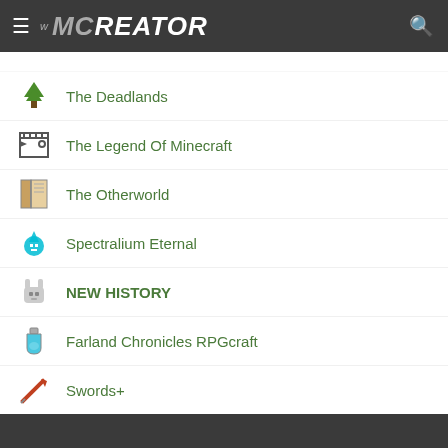MCreator
The Deadlands
The Legend Of Minecraft
The Otherworld
Spectralium Eternal
NEW HISTORY
Farland Chronicles RPGcraft
Swords+
Salvage Furnace
Strange Plants
Tool Gun Mod
Burning Ashes